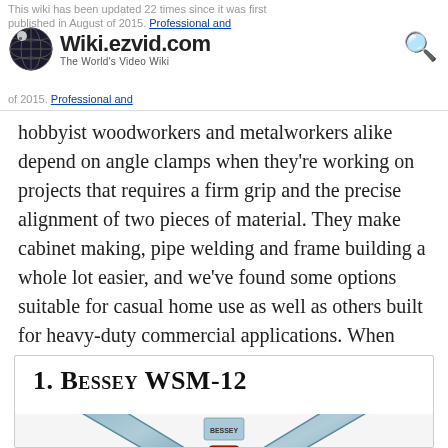This wiki has been updated 22 times since it was first published in August of 2015. Professional and hobbyist woodworkers and metalworkers alike — Wiki.ezvid.com The World's Video Wiki
hobbyist woodworkers and metalworkers alike depend on angle clamps when they're working on projects that requires a firm grip and the precise alignment of two pieces of material. They make cabinet making, pipe welding and frame building a whole lot easier, and we've found some options suitable for casual home use as well as others built for heavy-duty commercial applications. When users buy our independently chosen editorial picks, we may earn commissions to help fund the Wiki.
1. Bessey WSM-12
[Figure (photo): Photo of a Bessey WSM-12 angle clamp, a metallic V-shaped clamp with red screw mechanism, viewed from above]